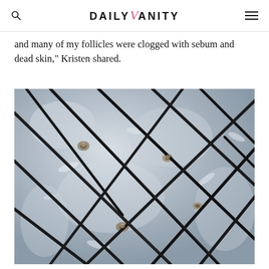DAILY VANITY
and many of my follicles were clogged with sebum and dead skin," Kristen shared.
[Figure (photo): Close-up macro photograph of a scalp showing hair follicles clogged with sebum and dead skin, with dark hair strands visible against pale scalp skin]